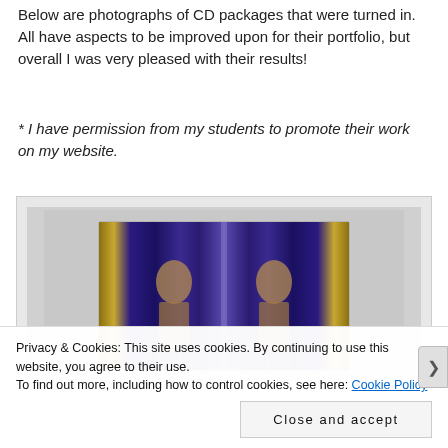Below are photographs of CD packages that were turned in. All have aspects to be improved upon for their portfolio, but overall I was very pleased with their results!
* I have permission from my students to promote their work on my website.
[Figure (photo): Photograph of a CD package showing a decorative blue and gold design with two mirrored figures facing each other, displayed in a clear CD case against a light gray background.]
Privacy & Cookies: This site uses cookies. By continuing to use this website, you agree to their use.
To find out more, including how to control cookies, see here: Cookie Policy
Close and accept